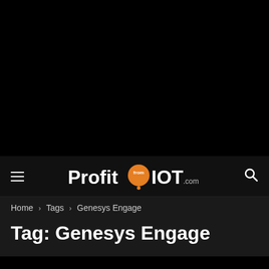[Figure (logo): ProfitfromIOT.com logo with orange circle containing 'from' text, white bold text on black navigation bar]
Home › Tags › Genesys Engage
Tag: Genesys Engage